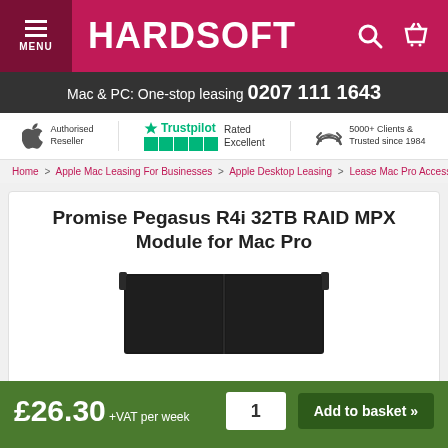HARDSOFT
Mac & PC: One-stop leasing 0207 111 1643
Apple Authorised Reseller | Trustpilot Rated Excellent | 5000+ Clients & Trusted since 1984
Home > Apple Mac Leasing For Businesses > Apple Desktop Leasing > Lease Mac Pro Accessorie
Promise Pegasus R4i 32TB RAID MPX Module for Mac Pro
[Figure (photo): Promise Pegasus R4i 32TB RAID MPX Module product photo, showing a dark rectangular hardware storage module]
£26.30 +VAT per week
Add to basket »